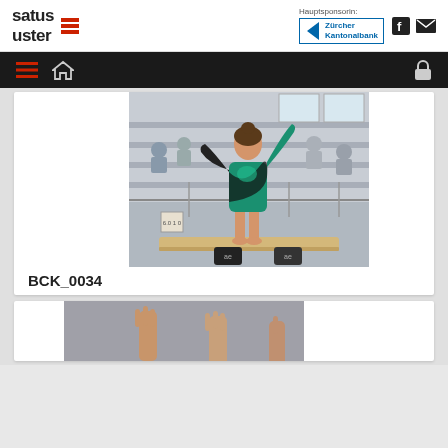satus uster — Hauptsponsorin: Zürcher Kantonalbank
[Figure (photo): Gymnast in green and black leotard performing on the balance beam in a sports hall with spectators in the background]
BCK_0034
[Figure (photo): Partial view of gymnasts with raised hands, bottom of page]